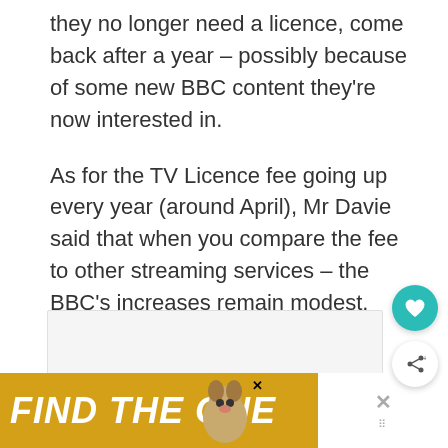they no longer need a licence, come back after a year – possibly because of some new BBC content they're now interested in.
As for the TV Licence fee going up every year (around April), Mr Davie said that when you compare the fee to other streaming services – the BBC's increases remain modest.
[Figure (screenshot): Advertisement banner at the bottom reading 'FIND THE ONE' in white bold italic text on a yellow/gold background with a dog image and close buttons.]